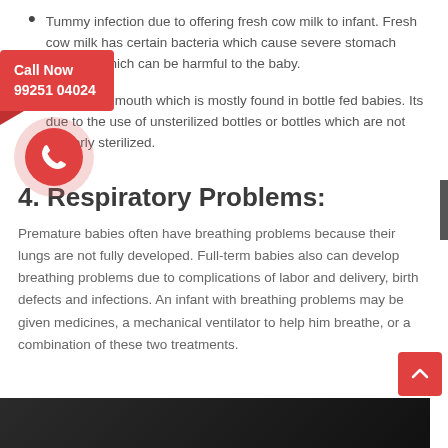Tummy infection due to offering fresh cow milk to infant. Fresh cow milk has certain bacteria which cause severe stomach infection which can be harmful to the baby.
[Figure (infographic): Call Now widget with red box showing 'Call Now 99251 04024' and a circular phone icon below it]
Infection in mouth which is mostly found in bottle fed babies. Its due to the use of unsterilized bottles or bottles which are not properly sterilized.
4. Respiratory Problems:
Premature babies often have breathing problems because their lungs are not fully developed. Full-term babies also can develop breathing problems due to complications of labor and delivery, birth defects and infections. An infant with breathing problems may be given medicines, a mechanical ventilator to help him breathe, or a combination of these two treatments.
[Figure (photo): Bottom image strip showing what appears to be a dark photo of a person]